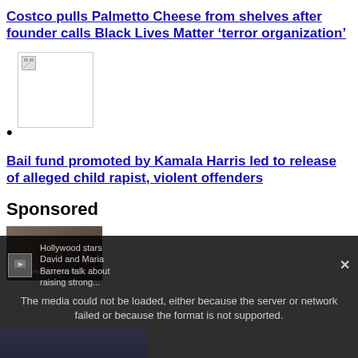Costco pulls Palmetto Cheese from shelves after founder calls Black Lives Matter ‘terror organization’
[Figure (photo): Broken image placeholder thumbnail]
Bail fund promoted by Kamala Harris led to release of alleged child rapist, violent offenders
Sponsored
[Figure (screenshot): Sponsored content image with text 'Helping Those Who']
[Figure (screenshot): Video overlay showing error message: The media could not be loaded, either because the server or network failed or because the format is not supported. Sidebar text: Hollywood stars David and Maria Barrera talk about raising strong...]